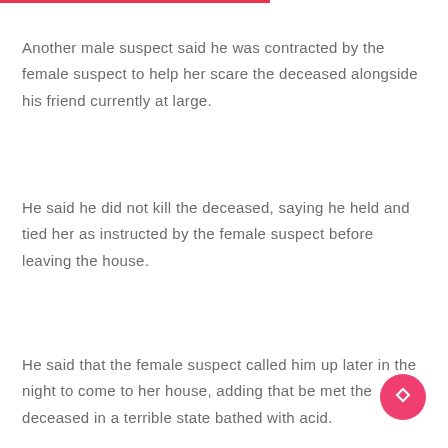Another male suspect said he was contracted by the female suspect to help her scare the deceased alongside his friend currently at large.
He said he did not kill the deceased, saying he held and tied her as instructed by the female suspect before leaving the house.
He said that the female suspect called him up later in the night to come to her house, adding that be met the deceased in a terrible state bathed with acid.